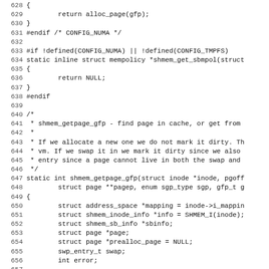Source code listing, lines 628-659, C kernel code including shmem_get_sbmpol and shmem_getpage_gfp functions